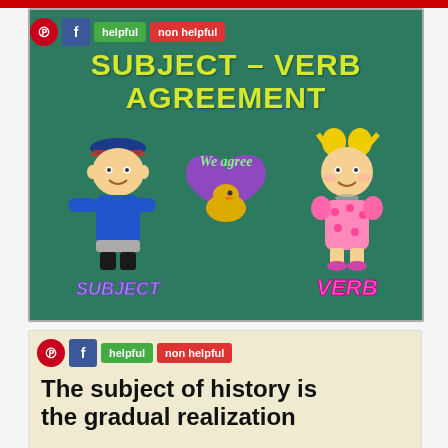[Figure (illustration): Educational illustration showing 'Subject–Verb Agreement' on a green chalkboard background with cartoon boy labeled SUBJECT on the left, a heart with bird and 'We agree' text in the center, and a cartoon girl labeled VERB on the right. Social sharing buttons (Pinterest, Facebook, helpful, non helpful) visible at top left.]
[Figure (illustration): Start of a second card with social sharing buttons (Pinterest, Facebook, helpful, non helpful) and text beginning 'The subject of history is the gradual realization' on a tan/beige background.]